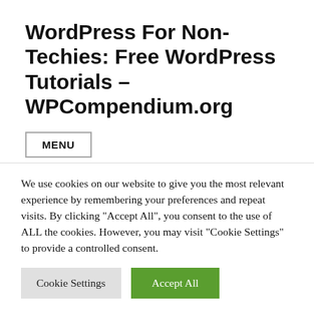WordPress For Non-Techies: Free WordPress Tutorials – WPCompendium.org
MENU
Tag: How To Use WordPress
We use cookies on our website to give you the most relevant experience by remembering your preferences and repeat visits. By clicking "Accept All", you consent to the use of ALL the cookies. However, you may visit "Cookie Settings" to provide a controlled consent.
Cookie Settings | Accept All